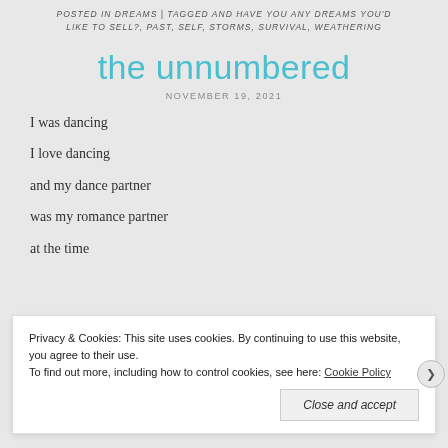POSTED IN DREAMS | TAGGED AND HAVE YOU ANY DREAMS YOU'D LIKE TO SELL?, PAST, SELF, STORMS, SURVIVAL, WEATHERING
the unnumbered
NOVEMBER 19, 2021
I was dancing
I love dancing
and my dance partner
was my romance partner
at the time
Privacy & Cookies: This site uses cookies. By continuing to use this website, you agree to their use.
To find out more, including how to control cookies, see here: Cookie Policy
Close and accept